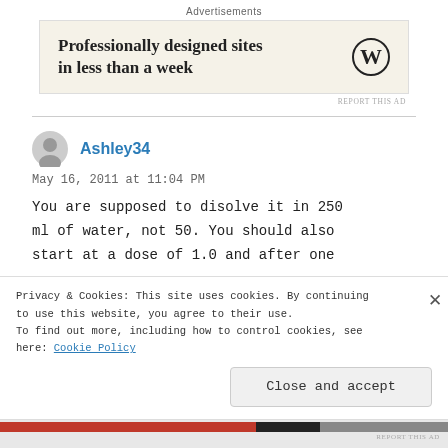Advertisements
[Figure (other): WordPress advertisement banner: 'Professionally designed sites in less than a week' with WordPress logo]
REPORT THIS AD
Ashley34
May 16, 2011 at 11:04 PM
You are supposed to disolve it in 250 ml of water, not 50. You should also start at a dose of 1.0 and after one
Privacy & Cookies: This site uses cookies. By continuing to use this website, you agree to their use.
To find out more, including how to control cookies, see here: Cookie Policy
Close and accept